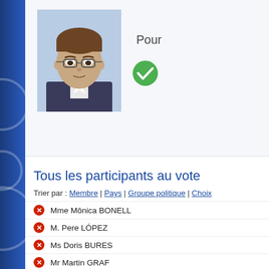[Figure (photo): Headshot photo of a man with glasses and brown hair, wearing a suit]
Pour
[Figure (illustration): Green circle with white checkmark icon]
Tous les participants au vote
Trier par : Membre | Pays | Groupe politique | Choix
Mme Mônica BONELL
M. Pere LÓPEZ
Ms Doris BURES
Mr Martin GRAF
Mr Stefan SCHENNACH